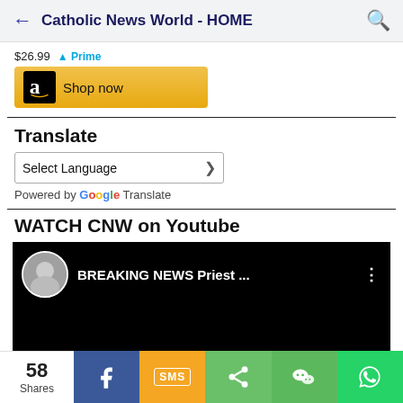Catholic News World - HOME
[Figure (screenshot): Amazon ad partial showing price $26.99 and a yellow Shop now button with Amazon logo]
Translate
Select Language
Powered by Google Translate
WATCH CNW on Youtube
[Figure (screenshot): YouTube embedded video player showing BREAKING NEWS Priest ... with channel avatar]
58 Shares